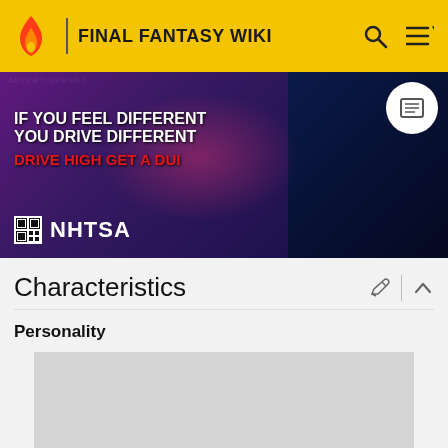FINAL FANTASY WIKI
[Figure (photo): NHTSA anti-DUI advertisement banner with text: IF YOU FEEL DIFFERENT YOU DRIVE DIFFERENT DRIVE HIGH GET A DUI, with NHTSA logo, dark background with person under colored lighting]
Characteristics
Personality
[Figure (other): Advertisement placeholder box (gray rectangle)]
ADVERTISEMENT